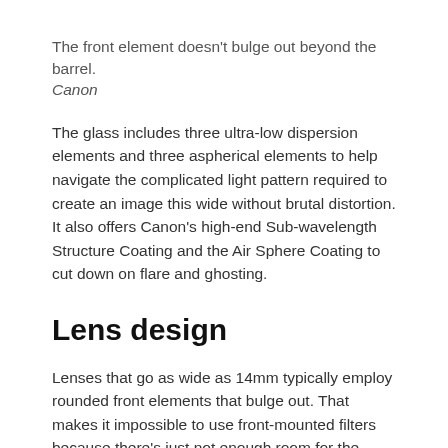The front element doesn't bulge out beyond the barrel. Canon
The glass includes three ultra-low dispersion elements and three aspherical elements to help navigate the complicated light pattern required to create an image this wide without brutal distortion. It also offers Canon's high-end Sub-wavelength Structure Coating and the Air Sphere Coating to cut down on flare and ghosting.
Lens design
Lenses that go as wide as 14mm typically employ rounded front elements that bulge out. That makes it impossible to use front-mounted filters because there's just not enough room for the glass. The new RF 14-